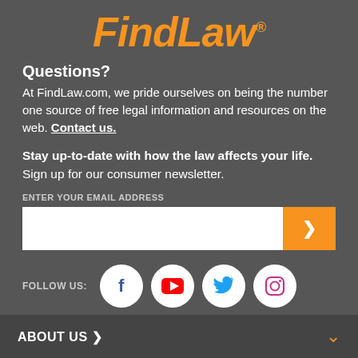[Figure (logo): FindLaw logo in orange italic text with registered trademark symbol]
Questions?
At FindLaw.com, we pride ourselves on being the number one source of free legal information and resources on the web. Contact us.
Stay up-to-date with how the law affects your life. Sign up for our consumer newsletter.
ENTER YOUR EMAIL ADDRESS
[Figure (other): Email input field with orange submit arrow button]
FOLLOW US:
[Figure (other): Social media icons: Facebook, YouTube, Twitter, Instagram]
ABOUT US >